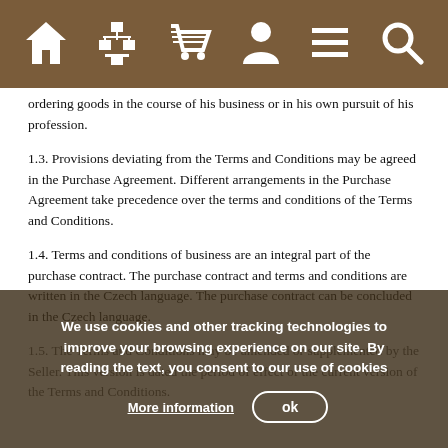[Figure (other): Navigation bar with icons: home, sitemap, shopping cart, user/person, menu/lines, search/magnifier]
ordering goods in the course of his business or in his own pursuit of his profession.
1.3. Provisions deviating from the Terms and Conditions may be agreed in the Purchase Agreement. Different arrangements in the Purchase Agreement take precedence over the terms and conditions of the Terms and Conditions.
1.4. Terms and conditions of business are an integral part of the purchase contract. The purchase contract and terms and conditions are written in the Czech language. The purchase contract can be concluded in the Czech language.
1.5. The Terms and Conditions may be amended or supplemented by the Seller. This version is dated the period of effect of the current version of the Terms and Conditions.
We use cookies and other tracking technologies to improve your browsing experience on our site. By reading the text, you consent to our use of cookies More information ok